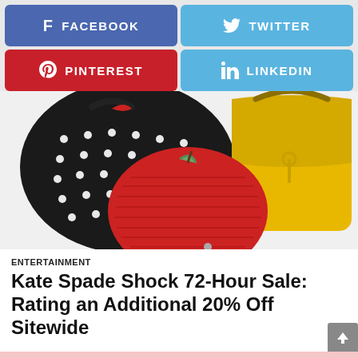[Figure (infographic): Social sharing buttons: Facebook (blue), Twitter (light blue), Pinterest (red), LinkedIn (light blue)]
[Figure (photo): Three Kate Spade handbags: a black polka dot tote, a red wicker apple-shaped crossbody, and a yellow leather backpack]
ENTERTAINMENT
Kate Spade Shock 72-Hour Sale: Rating an Additional 20% Off Sitewide